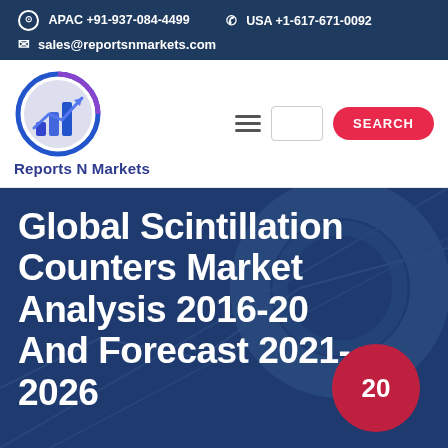APAC +91-937-084-4499   USA +1-617-671-0092   sales@reportsnmarkets.com
[Figure (logo): Reports N Markets logo — circular icon with bar chart and upward arrow, blue gradient, with text 'Reports N Markets' below]
Global Scintillation Counters Market Analysis 2016-2020 And Forecast 2021-2026